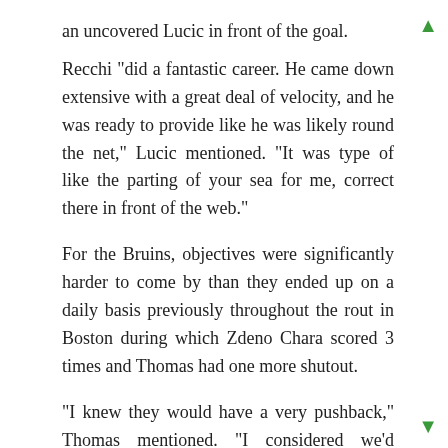an uncovered Lucic in front of the goal.
Recchi "did a fantastic career. He came down extensive with a great deal of velocity, and he was ready to provide like he was likely round the net," Lucic mentioned. "It was type of like the parting of your sea for me, correct there in front of the web."
For the Bruins, objectives were significantly harder to come by than they ended up on a daily basis previously throughout the rout in Boston during which Zdeno Chara scored 3 times and Thomas had one more shutout.
"I knew they would have a very pushback," Thomas mentioned. "I considered we'd handle it improved than we did. But from the long haul, we handled it perfectly, simply because we identified a means to win. But we could have designed it slightly less difficult on ourselves."
Generating shots was not a problem for much of your night for your Hurricanes, who matched a time higher with 19 in the to begin with time period after which did it once more in the second. From the